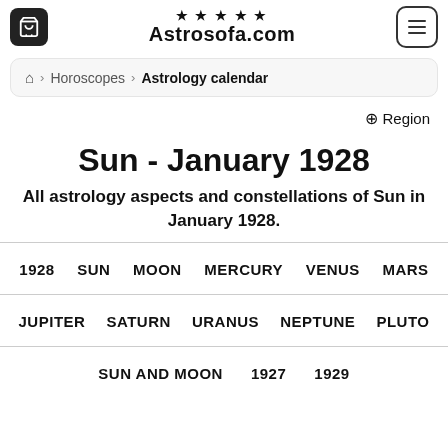Astrosofa.com
🏠 > Horoscopes > Astrology calendar
⊕ Region
Sun - January 1928
All astrology aspects and constellations of Sun in January 1928.
1928  SUN  MOON  MERCURY  VENUS  MARS
JUPITER  SATURN  URANUS  NEPTUNE  PLUTO
SUN AND MOON  1927  1929